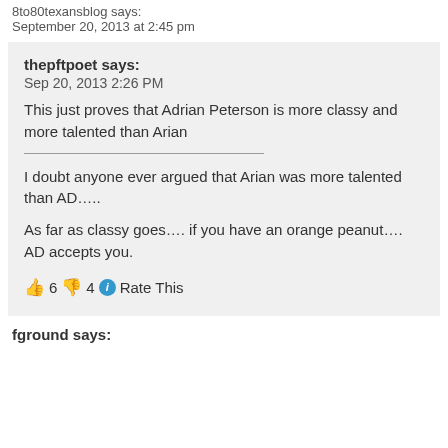8to80texansblog says:
September 20, 2013 at 2:45 pm
thepftpoet says:
Sep 20, 2013 2:26 PM
This just proves that Adrian Peterson is more classy and more talented than Arian
I doubt anyone ever argued that Arian was more talented than AD…..
As far as classy goes…. if you have an orange peanut…. AD accepts you.
👍 6 👎 4 ℹ Rate This
fground says: